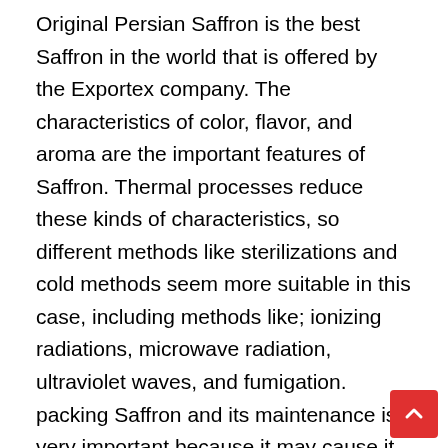Original Persian Saffron is the best Saffron in the world that is offered by the Exportex company. The characteristics of color, flavor, and aroma are the important features of Saffron. Thermal processes reduce these kinds of characteristics, so different methods like sterilizations and cold methods seem more suitable in this case, including methods like; ionizing radiations, microwave radiation, ultraviolet waves, and fumigation. packing Saffron and its maintenance is very important because it may cause it spoiled or lose the quality. These companies do care about the main factors which help the quality of Saffron reside, like; Packaging materials used for Saffron, measuring the product humidity compared with the air outside, the temperature of the environment that Saffron is kept, keeping it away from the sunlight and Oxygen. You can buy Sargol Saffron for your daily use. The use of the Saffron flower has become quite common in technology and industry. Different food factories use it for producing different kinds…